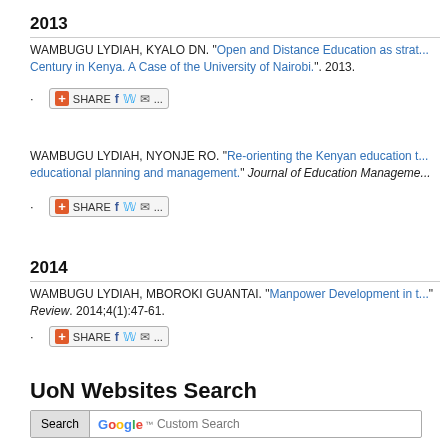2013
WAMBUGU LYDIAH, KYALO DN. "Open and Distance Education as strat... Century in Kenya. A Case of the University of Nairobi.". 2013.
[Figure (other): Share button with Facebook, Twitter, email icons]
WAMBUGU LYDIAH, NYONJE RO. "Re-orienting the Kenyan education t... educational planning and management." Journal of Education Manageme...
[Figure (other): Share button with Facebook, Twitter, email icons]
2014
WAMBUGU LYDIAH, MBOROKI GUANTAI. "Manpower Development in t... Review. 2014;4(1):47-61.
[Figure (other): Share button with Facebook, Twitter, email icons]
UoN Websites Search
Search | Google™ Custom Search